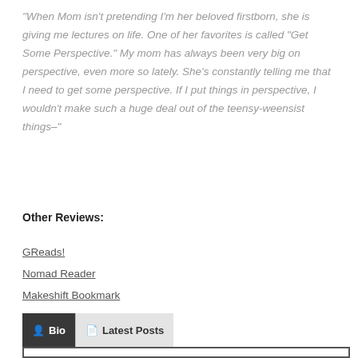"When Mom isn't pretending I'm her beloved firstborn, she is giving me lectures on life. One of her favorites is called “Get Some Perspective.” My mom has always been very big on perspective, even more so lately. She’s constantly telling me that I need to get some perspective. If I put things in perspective, I wouldn’t make such a huge deal out of the teensy-weensist things–"
Other Reviews:
GReads!
Nomad Reader
Makeshift Bookmark
[Figure (other): Bio and Latest Posts tab bar at bottom of page, with a partially visible author box below]